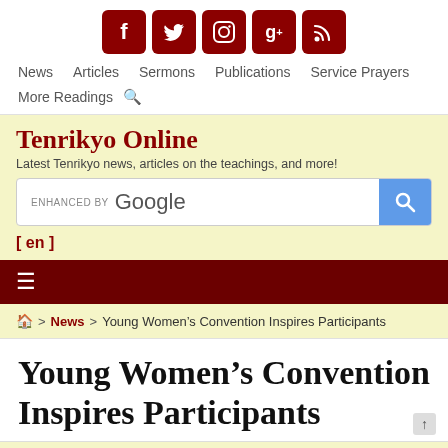[Figure (other): Social media icons: Facebook, Twitter, Instagram, Google+, RSS feed — dark red rounded square buttons]
News   Articles   Sermons   Publications   Service Prayers
More Readings  🔍
Tenrikyo Online
Latest Tenrikyo news, articles on the teachings, and more!
[Figure (screenshot): ENHANCED BY Google search bar with blue search button]
[ en ]
≡
🏠 > News > Young Women's Convention Inspires Participants
Young Women's Convention Inspires Participants